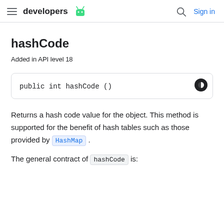developers [android logo] | Search | Sign in
hashCode
Added in API level 18
public int hashCode ()
Returns a hash code value for the object. This method is supported for the benefit of hash tables such as those provided by HashMap .
The general contract of hashCode is: